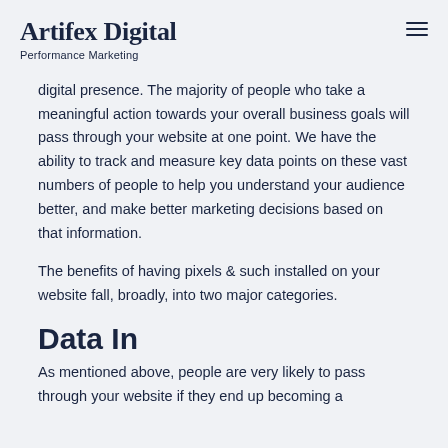Artifex Digital
Performance Marketing
digital presence. The majority of people who take a meaningful action towards your overall business goals will pass through your website at one point. We have the ability to track and measure key data points on these vast numbers of people to help you understand your audience better, and make better marketing decisions based on that information.
The benefits of having pixels & such installed on your website fall, broadly, into two major categories.
Data In
As mentioned above, people are very likely to pass through your website if they end up becoming a